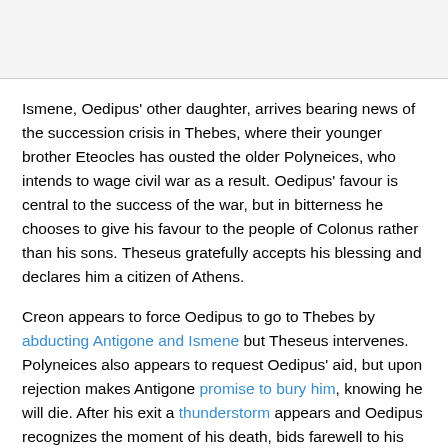Ismene, Oedipus' other daughter, arrives bearing news of the succession crisis in Thebes, where their younger brother Eteocles has ousted the older Polyneices, who intends to wage civil war as a result. Oedipus' favour is central to the success of the war, but in bitterness he chooses to give his favour to the people of Colonus rather than his sons. Theseus gratefully accepts his blessing and declares him a citizen of Athens.
Creon appears to force Oedipus to go to Thebes by abducting Antigone and Ismene but Theseus intervenes. Polyneices also appears to request Oedipus' aid, but upon rejection makes Antigone promise to bury him, knowing he will die. After his exit a thunderstorm appears and Oedipus recognizes the moment of his death, bids farewell to his